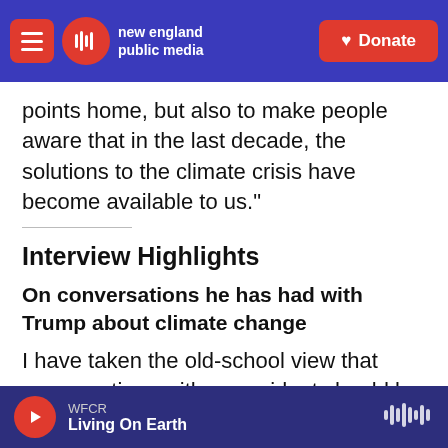new england public media | Donate
points home, but also to make people aware that in the last decade, the solutions to the climate crisis have become available to us."
Interview Highlights
On conversations he has had with Trump about climate change
I have taken the old-school view that conversations with a president should be kept confidential, but I
WFCR Living On Earth